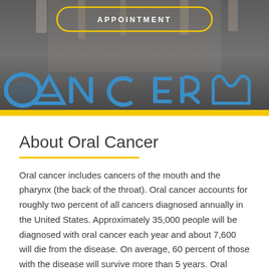[Figure (photo): Hero banner image showing artistic oral cancer awareness display with blue letter/tooth shapes on a gray background, with a yellow-outlined 'APPOINTMENT' button overlaid at top center]
About Oral Cancer
Oral cancer includes cancers of the mouth and the pharynx (the back of the throat). Oral cancer accounts for roughly two percent of all cancers diagnosed annually in the United States. Approximately 35,000 people will be diagnosed with oral cancer each year and about 7,600 will die from the disease. On average, 60 percent of those with the disease will survive more than 5 years. Oral cancer most often occurs in people over the age of 40 and affects more than twice as many men as women.